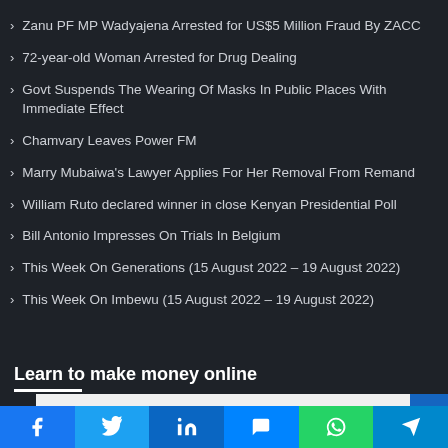Zanu PF MP Wadyajena Arrested for US$5 Million Fraud By ZACC
72-year-old Woman Arrested for Drug Dealing
Govt Suspends The Wearing Of Masks In Public Places With Immediate Effect
Chamvary Leaves Power FM
Marry Mubaiwa's Lawyer Applies For Her Removal From Remand
William Ruto declared winner in close Kenyan Presidential Poll
Bill Antonio Impresses On Trials In Belgium
This Week On Generations (15 August 2022 – 19 August 2022)
This Week On Imbewu (15 August 2022 – 19 August 2022)
Learn to make money online
[Figure (screenshot): Partial screenshot of a website or promotional image with bold text, partially cut off at bottom of page]